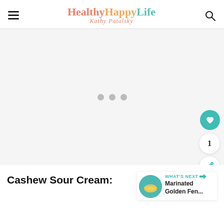HealthyHappyLife — Kathy Patalsky
[Figure (other): Large gray placeholder advertisement area with three gray loading dots in the center, heart button, count button showing 1, and share button on the right side]
Cashew Sour Cream:
WHAT'S NEXT → Marinated Golden Fen...